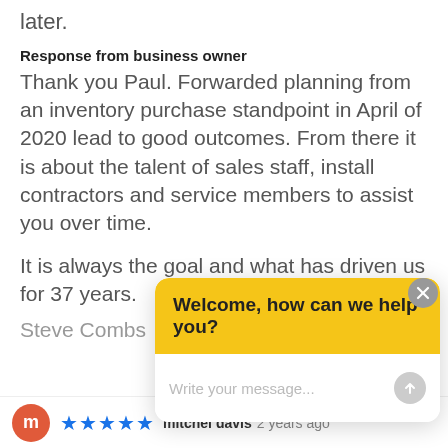later.
Response from business owner
Thank you Paul. Forwarded planning from an inventory purchase standpoint in April of 2020 lead to good outcomes. From there it is about the talent of sales staff, install contractors and service members to assist you over time.

It is always the goal and what has driven us for 37 years.
Steve Combs
[Figure (screenshot): Chat widget overlay with yellow header reading 'Welcome, how can we help you?' and input field 'Write your message...' with a close button and send button]
mitchel davis 2 years ago